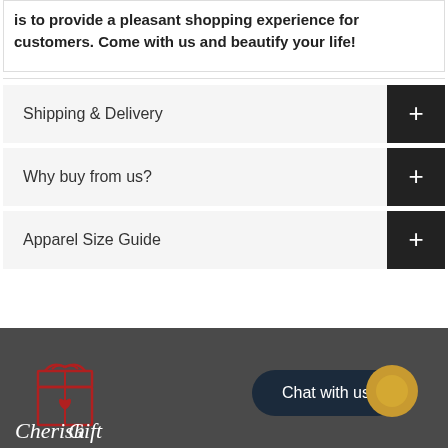is to provide a pleasant shopping experience for customers. Come with us and beautify your life!
Shipping & Delivery
Why buy from us?
Apparel Size Guide
[Figure (logo): CherishGift logo with gift box icon in red outline and script text]
Chat with us